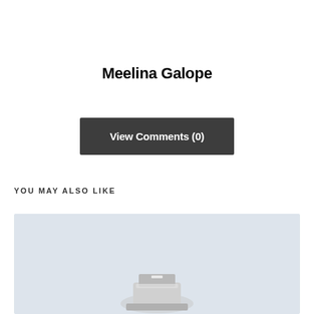Meelina Galope
View Comments (0)
YOU MAY ALSO LIKE
[Figure (photo): A card image with a light blue-grey background showing a Fleet Management badge and a partial view of a chrome vehicle component at the bottom.]